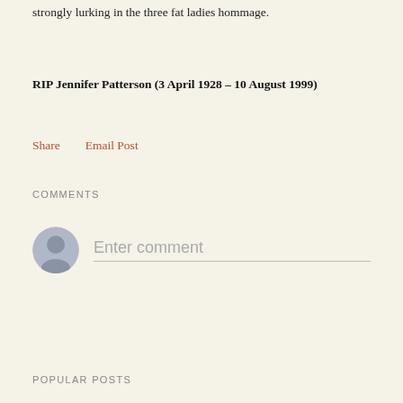strongly lurking in the three fat ladies hommage.
RIP Jennifer Patterson (3 April 1928 – 10 August 1999)
Share    Email Post
COMMENTS
Enter comment
POPULAR POSTS